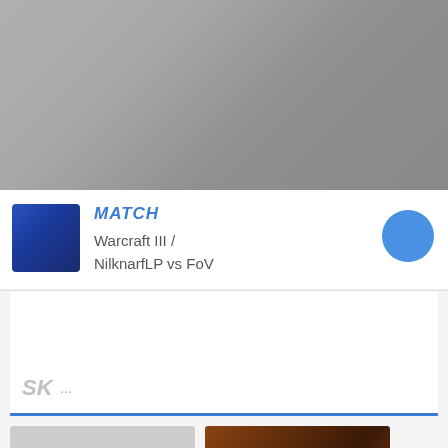[Figure (photo): Gray gradient hero image at top of page, appearing to be a blurred or empty video thumbnail]
MATCH
Warcraft III / NilknarfLP vs FoV
[Figure (logo): SK Gaming logo (stylized SK letters) followed by ellipsis text '...']
[Figure (photo): Two thumbnail images at the bottom: left is a light gray placeholder, right is a dark brownish-red image]